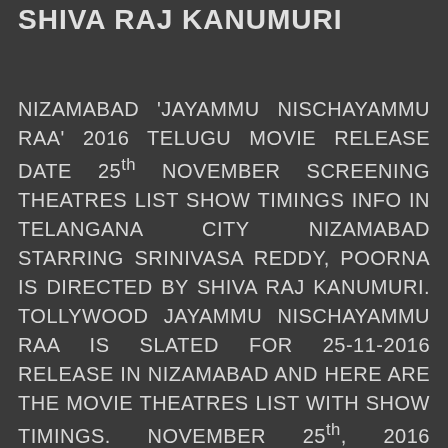SHIVA RAJ KANUMURI
NIZAMABAD 'JAYAMMU NISCHAYAMMU RAA' 2016 TELUGU MOVIE RELEASE DATE 25th NOVEMBER SCREENING THEATRES LIST SHOW TIMINGS INFO IN TELANGANA CITY NIZAMABAD STARRING SRINIVASA REDDY, POORNA IS DIRECTED BY SHIVA RAJ KANUMURI. TOLLYWOOD JAYAMMU NISCHAYAMMU RAA IS SLATED FOR 25-11-2016 RELEASE IN NIZAMABAD AND HERE ARE THE MOVIE THEATRES LIST WITH SHOW TIMINGS. NOVEMBER 25th, 2016 NIZAMABAD CINEMAS RELEASE 'JAYAMMU NISCHAYAMMU RAA' SHOWING THEATRES LIST AND SHOW TIMINGS LISTED HERE. NIZAMABAD FILM THEATRES SHOWING SRINIVASA REDDY, POORNA ACTING IN JAYAMMU NISCHAYAMMU RAA also stars osani